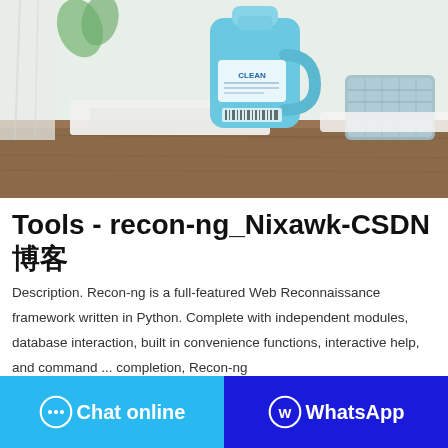[Figure (photo): A blue laundry detergent bottle on a wooden table with white cloth and a basket in the background]
Tools - recon-ng_Nixawk-CSDN博客
Description. Recon-ng is a full-featured Web Reconnaissance framework written in Python. Complete with independent modules, database interaction, built in convenience functions, interactive help, and command ... completion, Recon-ng